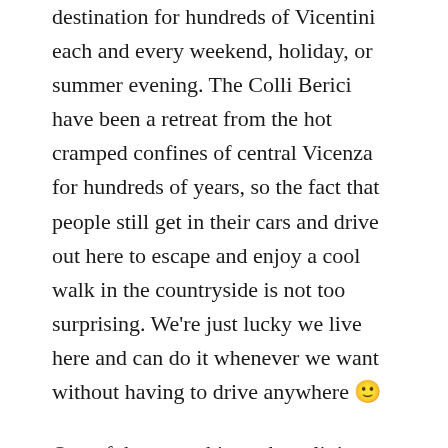destination for hundreds of Vicentini each and every weekend, holiday, or summer evening. The Colli Berici have been a retreat from the hot cramped confines of central Vicenza for hundreds of years, so the fact that people still get in their cars and drive out here to escape and enjoy a cool walk in the countryside is not too surprising. We're just lucky we live here and can do it whenever we want without having to drive anywhere 🙂
One of the great things about living an international lifestyle is that we are forced to adapt and enjoy the best things about wherever we end up calling home. So while we might not ever live in a place like Pianezze del Lago again, we look forward to discovering what makes our next home the perfect place to live.